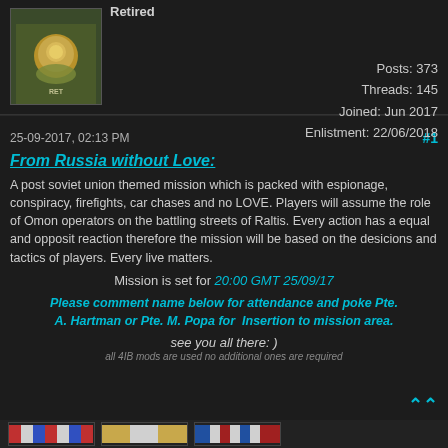[Figure (photo): Military unit badge/crest avatar with olive green background and 'RET' label at bottom]
Retired
Posts: 373
Threads: 145
Joined: Jun 2017
Enlistment: 22/06/2018
25-09-2017, 02:13 PM
#1
From Russia without Love:
A post soviet union themed mission which is packed with espionage, conspiracy, firefights, car chases and no LOVE. Players will assume the role of Omon operators on the battling streets of Raltis. Every action has a equal and opposit reaction therefore the mission will be based on the desicions and tactics of players. Every live matters.
Mission is set for 20:00 GMT 25/09/17
Please comment name below for attendance and poke Pte. A. Hartman or Pte. M. Popa for  Insertion to mission area.
see you all there: )
all 4IB mods are used no additional ones are required
[Figure (photo): Three military ribbon/medal bars at the bottom of the page]